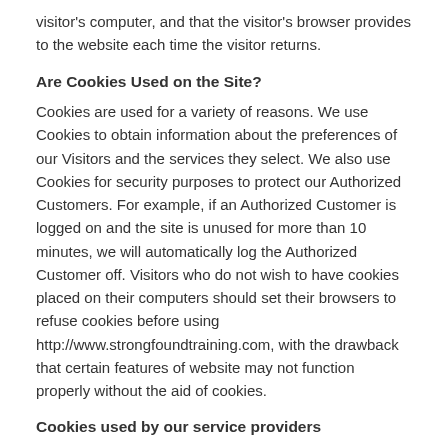visitor's computer, and that the visitor's browser provides to the website each time the visitor returns.
Are Cookies Used on the Site?
Cookies are used for a variety of reasons. We use Cookies to obtain information about the preferences of our Visitors and the services they select. We also use Cookies for security purposes to protect our Authorized Customers. For example, if an Authorized Customer is logged on and the site is unused for more than 10 minutes, we will automatically log the Authorized Customer off. Visitors who do not wish to have cookies placed on their computers should set their browsers to refuse cookies before using http://www.strongfoundtraining.com, with the drawback that certain features of website may not function properly without the aid of cookies.
Cookies used by our service providers
Our service providers use cookies and those cookies may be stored on your computer when you visit our website. You can find more details about which cookies are used in our cookies info page.
How does StrongFound Personal Training use login information?